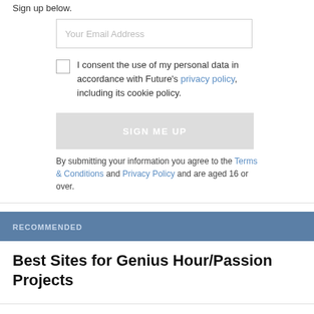Sign up below.
Your Email Address
I consent the use of my personal data in accordance with Future's privacy policy, including its cookie policy.
SIGN ME UP
By submitting your information you agree to the Terms & Conditions and Privacy Policy and are aged 16 or over.
RECOMMENDED
Best Sites for Genius Hour/Passion Projects